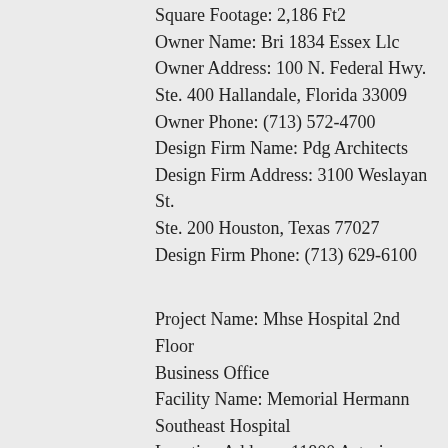Square Footage: 2,186 Ft2
Owner Name: Bri 1834 Essex Llc
Owner Address: 100 N. Federal Hwy. Ste. 400 Hallandale, Florida 33009
Owner Phone: (713) 572-4700
Design Firm Name: Pdg Architects
Design Firm Address: 3100 Weslayan St. Ste. 200 Houston, Texas 77027
Design Firm Phone: (713) 629-6100
Project Name: Mhse Hospital 2nd Floor Business Office
Facility Name: Memorial Hermann Southeast Hospital
Location Address: 11800 Astoria Blvd Houston, TX 77089
Location County: Harris
Start Date: 5/1/2019